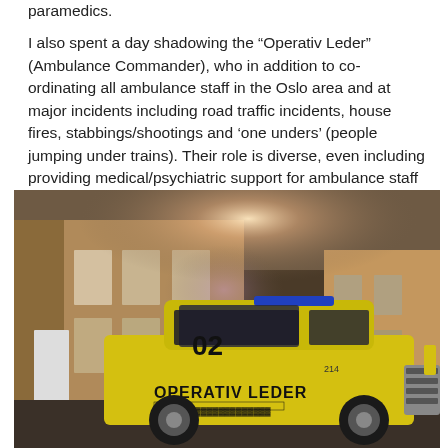paramedics.
I also spent a day shadowing the “Operativ Leder” (Ambulance Commander), who in addition to co-ordinating all ambulance staff in the Oslo area and at major incidents including road traffic incidents, house fires, stabbings/shootings and ‘one unders’ (people jumping under trains). Their role is diverse, even including providing medical/psychiatric support for ambulance staff and bystanders after traumatic events.
[Figure (photo): A yellow SUV marked with “OPERATIV LEDER” and the number 02, parked in front of a brick building. Sunlight flares from behind the building. The vehicle appears to be a Toyota Land Cruiser Prado painted in yellow with emergency service markings.]